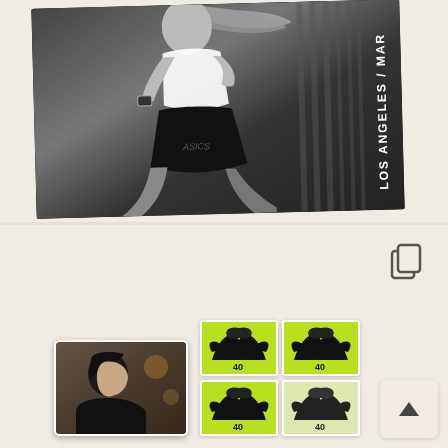[Figure (photo): A black and white photo card placed on a wooden surface showing a female runner in athletic gear (sports bra, shorts, running shoes) with flowing hair, wearing a watch and running vigorously. The card has white vertical text reading 'LOS ANGELES / MAR...' on the right side.]
[Figure (photo): A wooden surface with a small photo card showing a dark-haired person in profile, alongside green and white postage stamps featuring an eagle/bird design, arranged on the wooden background. A copy/duplicate icon appears in the upper right, and a scroll-up button is in the lower right corner.]